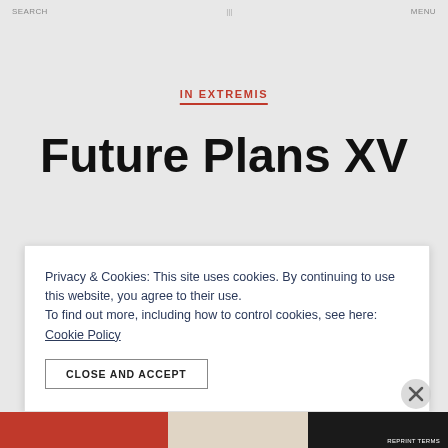SEARCH   |||   MENU
IN EXTREMIS
Future Plans XV
Privacy & Cookies: This site uses cookies. By continuing to use this website, you agree to their use.
To find out more, including how to control cookies, see here:
Cookie Policy
CLOSE AND ACCEPT